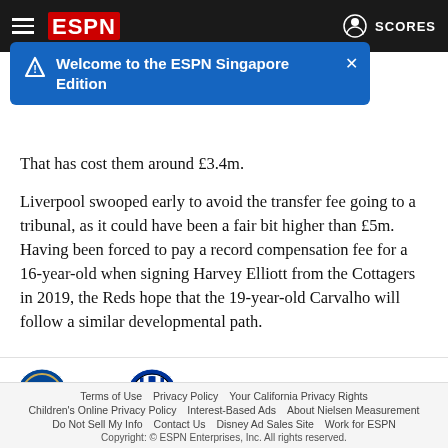ESPN — Welcome to the ESPN Singapore Edition
That has cost them around £3.4m.
Liverpool swooped early to avoid the transfer fee going to a tribunal, as it could have been a fair bit higher than £5m. Having been forced to pay a record compensation fee for a 16-year-old when signing Harvey Elliott from the Cottagers in 2019, the Reds hope that the 19-year-old Carvalho will follow a similar developmental path.
[Figure (infographic): Transfer infographic: Chelsea logo → arrow → Inter Milan logo, with text ROMELU LUKAKU]
Terms of Use  Privacy Policy  Your California Privacy Rights  Children's Online Privacy Policy  Interest-Based Ads  About Nielsen Measurement  Do Not Sell My Info  Contact Us  Disney Ad Sales Site  Work for ESPN  Copyright: © ESPN Enterprises, Inc. All rights reserved.